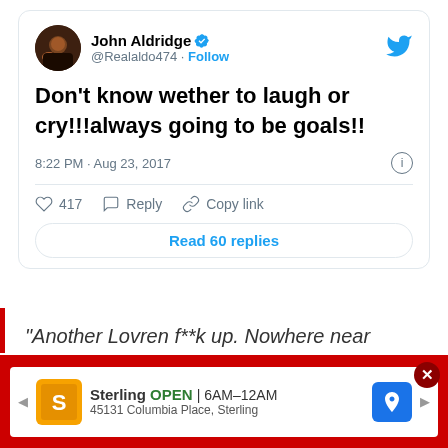[Figure (screenshot): Tweet from John Aldridge (@Realaldo474) with verified badge. Tweet text: Don't know wether to laugh or cry!!!always going to be goals!! Posted at 8:22 PM · Aug 23, 2017. 417 likes, Reply, Copy link actions. Read 60 replies button.]
“Another Lovren f**k up. Nowhere near challenging for that.
[Figure (screenshot): Advertisement bar: Sterling OPEN 6AM-12AM, 45131 Columbia Place, Sterling]